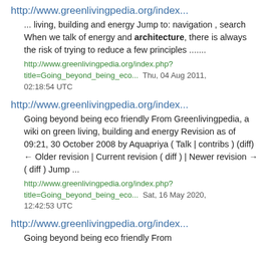http://www.greenlivingpedia.org/index...
... living, building and energy Jump to: navigation , search When we talk of energy and architecture, there is always the risk of trying to reduce a few principles .......
http://www.greenlivingpedia.org/index.php?title=Going_beyond_being_eco...  Thu, 04 Aug 2011, 02:18:54 UTC
http://www.greenlivingpedia.org/index...
Going beyond being eco friendly From Greenlivingpedia, a wiki on green living, building and energy Revision as of 09:21, 30 October 2008 by Aquapriya ( Talk | contribs ) (diff) ← Older revision | Current revision ( diff ) | Newer revision → ( diff ) Jump ...
http://www.greenlivingpedia.org/index.php?title=Going_beyond_being_eco...  Sat, 16 May 2020, 12:42:53 UTC
http://www.greenlivingpedia.org/index...
Going beyond being eco friendly From